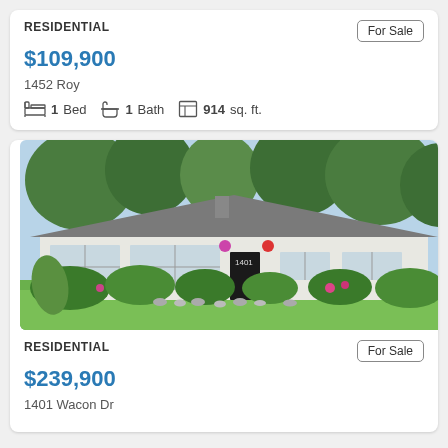RESIDENTIAL
For Sale
$109,900
1452 Roy
1 Bed  1 Bath  914 sq. ft.
[Figure (photo): Exterior photo of a single-story ranch-style white brick house with gray roof, large front windows, dark front door, hanging flower baskets, lush green landscaping including bushes and ornamental grasses, and a well-maintained lawn.]
RESIDENTIAL
For Sale
$239,900
1401 Wacon Dr